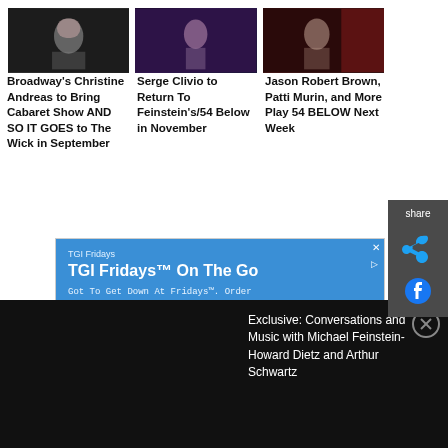[Figure (photo): Photo of Christine Andreas on dark background]
Broadway's Christine Andreas to Bring Cabaret Show AND SO IT GOES to The Wick in September
[Figure (photo): Photo of Serge Clivio performing on stage with purple lighting]
Serge Clivio to Return To Feinstein's/54 Below in November
[Figure (photo): Photo of Jason Robert Brown against red background]
Jason Robert Brown, Patti Murin, and More Play 54 BELOW Next Week
[Figure (screenshot): TGI Fridays advertisement: TGI Fridays On The Go. Got To Get Down At Fridays. Order Online Or Stop By Today.]
Exclusive: Conversations and Music with Michael Feinstein-Howard Dietz and Arthur Schwartz